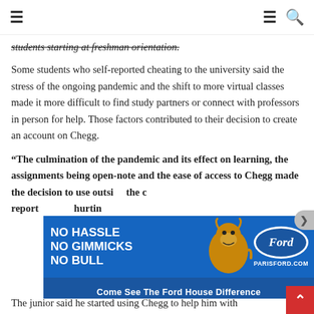≡  ≡ 🔍
students starting at freshman orientation.
Some students who self-reported cheating to the university said the stress of the ongoing pandemic and the shift to more virtual classes made it more difficult to find study partners or connect with professors in person for help. Those factors contributed to their decision to create an account on Chegg.
“The culmination of the pandemic and its effect on learning, the assignments being open-note and the ease of access to Chegg made the decision to use outside resources easier,” one student who self-reported said. “It led to the decision to utilize Chegg without the concern of getting caught or hurting others.”
[Figure (photo): Ford advertisement overlay: blue background with bull mascot, text 'NO HASSLE NO GIMMICKS NO BULL', Ford oval logo, PARISFORD.COM, and bottom bar 'Come See The Ford House Difference']
The junior said he started using Chegg to help him with